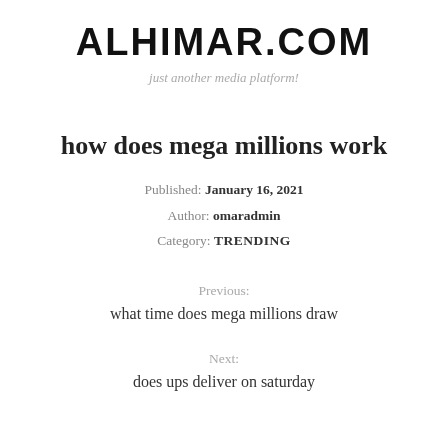ALHIMAR.COM
just another media platform!
how does mega millions work
Published: January 16, 2021
Author: omaradmin
Category: TRENDING
Previous:
what time does mega millions draw
Next:
does ups deliver on saturday